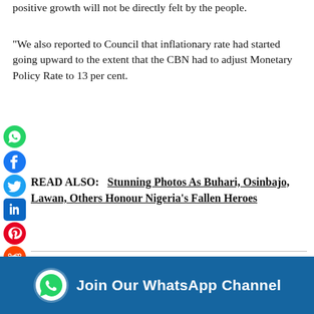positive growth will not be directly felt by the people.
“We also reported to Council that inflationary rate had started going upward to the extent that the CBN had to adjust Monetary Policy Rate to 13 per cent.
READ ALSO:   Stunning Photos As Buhari, Osinbajo, Lawan, Others Honour Nigeria’s Fallen Heroes
The adjustment was made at the CBN’s last Monetary Policy Committee meeting to manage the cost of inflation.
“Council has decided to step up special efforts to look at sectors that…
[Figure (infographic): WhatsApp Channel join banner with blue background, WhatsApp icon, and text 'Join Our WhatsApp Channel']